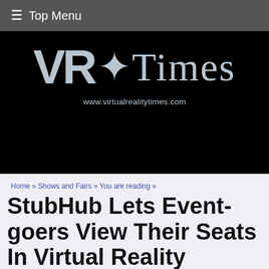≡ Top Menu
[Figure (logo): VR Times logo with large 'VR' letters and gothic-style 'Times' text on black background, with URL www.virtualrealitytimes.com below]
Home » Shows and Fairs » You are reading »
StubHub Lets Event-goers View Their Seats In Virtual Reality